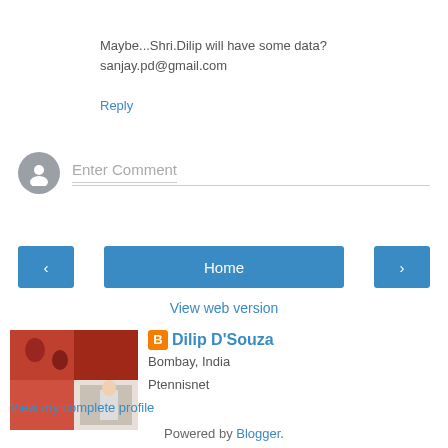Maybe...Shri.Dilip will have some data?
sanjay.pd@gmail.com
Reply
[Figure (other): Enter Comment input field with avatar]
[Figure (other): Navigation buttons: left arrow, Home, right arrow]
View web version
[Figure (photo): Profile photo collage of people]
Dilip D'Souza
Bombay, India
Ptennisnet
View my complete profile
Powered by Blogger.